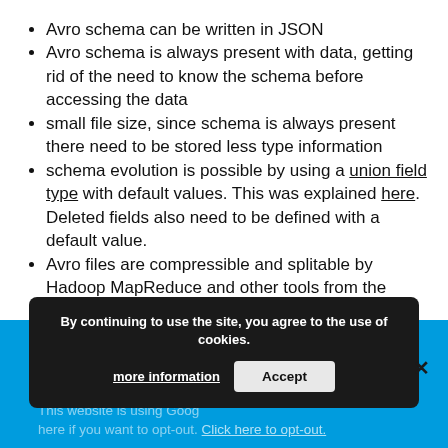Avro schema can be written in JSON
Avro schema is always present with data, getting rid of the need to know the schema before accessing the data
small file size, since schema is always present there need to be stored less type information
schema evolution is possible by using a union field type with default values. This was explained here. Deleted fields also need to be defined with a default value.
Avro files are compressible and splitable by Hadoop MapReduce and other tools from the Hadoop universe.
files can be compressed with Snappy and Deflate.
By continuing to use the site, you agree to the use of cookies.
more information   Accept
This website is using Google... please click here if you want to opt-out. Click here to opt-out.